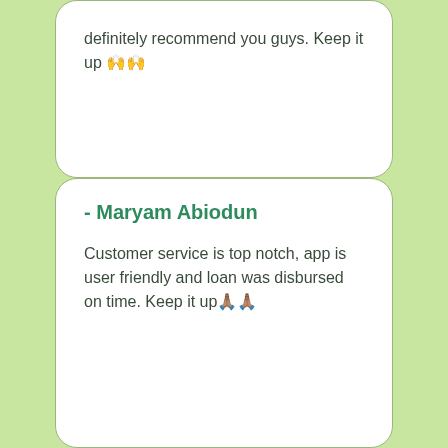definitely recommend you guys. Keep it up 🙌🙌
- Maryam Abiodun
Customer service is top notch, app is user friendly and loan was disbursed on time. Keep it up🙏🏽🙏🏽